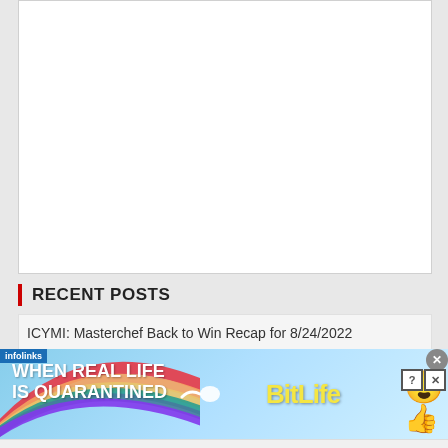[Figure (other): White content box area (blank/empty article content area)]
RECENT POSTS
ICYMI: Masterchef Back to Win Recap for 8/24/2022
[Figure (screenshot): Infolinks advertisement banner for BitLife game showing rainbow background with text 'WHEN REAL LIFE IS QUARANTINED' and BitLife logo with emoji characters, close and help buttons in top right corner]